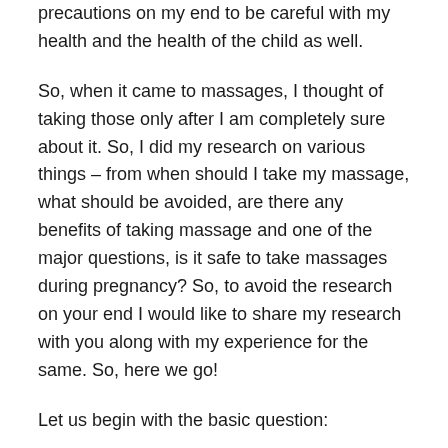precautions on my end to be careful with my health and the health of the child as well.
So, when it came to massages, I thought of taking those only after I am completely sure about it. So, I did my research on various things – from when should I take my massage, what should be avoided, are there any benefits of taking massage and one of the major questions, is it safe to take massages during pregnancy? So, to avoid the research on your end I would like to share my research with you along with my experience for the same. So, here we go!
Let us begin with the basic question:
What is Pregnancy Massage?